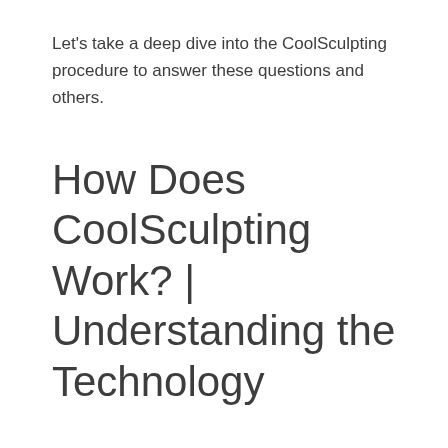Let's take a deep dive into the CoolSculpting procedure to answer these questions and others.
How Does CoolSculpting Work? | Understanding the Technology